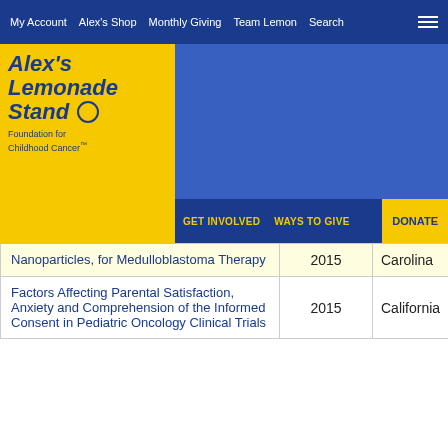My Account  Alex's Shop  Monthly Giving  Team Lemon  Search
[Figure (logo): Alex's Lemonade Stand Foundation for Childhood Cancer logo on yellow background]
| Title | Year | State |
| --- | --- | --- |
| Nanoparticles, for Medulloblastoma Therapy | 2015 | Carolina |
| Factors Affecting Parental Satisfaction, Anxiety and Comprehension of the Informed Consent in Pediatric Oncology Clinical Trials | 2015 | California |
... 3 4 5 6 7 View all
« first ‹ previous next › last »
Search Funded Projects